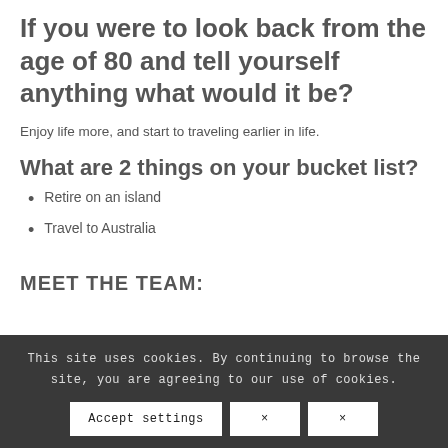If you were to look back from the age of 80 and tell yourself anything what would it be?
Enjoy life more, and start to traveling earlier in life.
What are 2 things on your bucket list?
Retire on an island
Travel to Australia
MEET THE TEAM:
This site uses cookies. By continuing to browse the site, you are agreeing to our use of cookies.
Accept settings  ×  ×